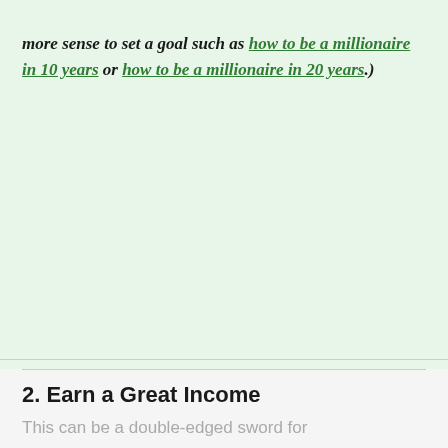more sense to set a goal such as how to be a millionaire in 10 years or how to be a millionaire in 20 years.)
2. Earn a Great Income
This can be a double-edged sword for